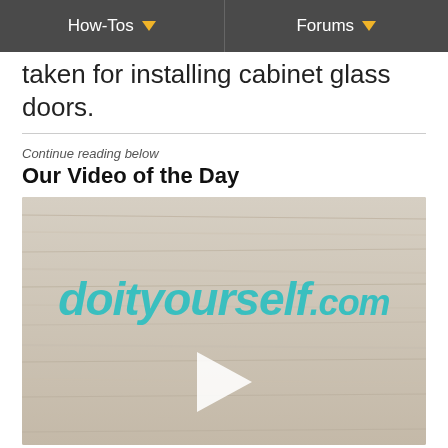How-Tos | Forums
taken for installing cabinet glass doors.
Continue reading below
Our Video of the Day
[Figure (screenshot): Video thumbnail for doityourself.com showing a wood-grain background with the doityourself.com logo in teal text and a white play button in the center.]